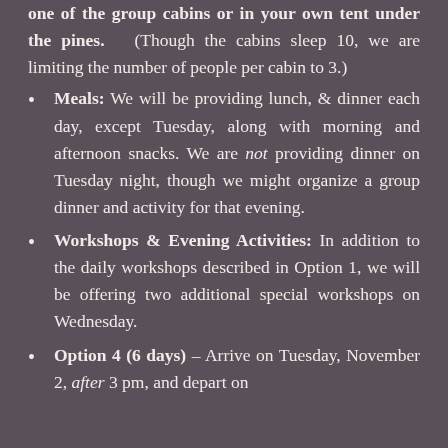one of the group cabins or in your own tent under the pines. (Though the cabins sleep 10, we are limiting the number of people per cabin to 3.)
Meals: We will be providing lunch, & dinner each day, except Tuesday, along with morning and afternoon snacks. We are not providing dinner on Tuesday night, though we might organize a group dinner and activity for that evening.
Workshops & Evening Activities: In addition to the daily workshops described in Option 1, we will be offering two additional special workshops on Wednesday.
Option 4 (6 days) – Arrive on Tuesday, November 2, after 3 pm, and depart on